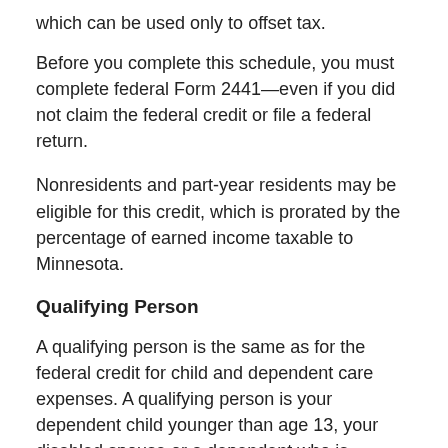which can be used only to offset tax.
Before you complete this schedule, you must complete federal Form 2441—even if you did not claim the federal credit or file a federal return.
Nonresidents and part-year residents may be eligible for this credit, which is prorated by the percentage of earned income taxable to Minnesota.
Qualifying Person
A qualifying person is the same as for the federal credit for child and dependent care expenses. A qualifying person is your dependent child younger than age 13, your disabled spouse or a dependent who is disabled.
If you were divorced, legally separated or lived apart from your spouse during the last six months of 2013 and your child is not your dependent, you may take the credit if your child meets the requirements of a